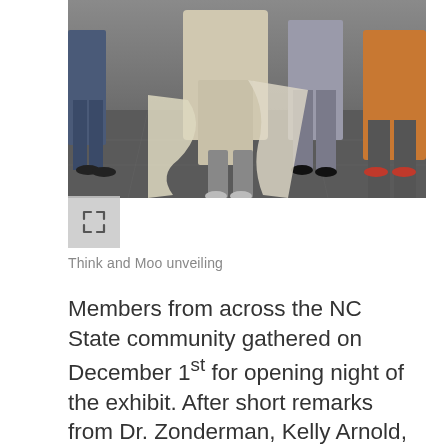[Figure (photo): People standing at an exhibit unveiling, wrapping paper being torn away. Taken indoors on tile floor.]
Think and Moo unveiling
Members from across the NC State community gathered on December 1st for opening night of the exhibit. After short remarks from Dr. Zonderman, Kelly Arnold, and Alex Ives, members of the class, tore down the wrapping paper concealing the exhibit. With the exhibit revealed, attendees enjoyed refreshments, including Howling Cow ice cream, while they took in the information displayed in the exhibit. Two lucky students even won Howling Cow themed prizes after matching pictures of dairy cows to their breed names in a fast-paced game of Kahoot.